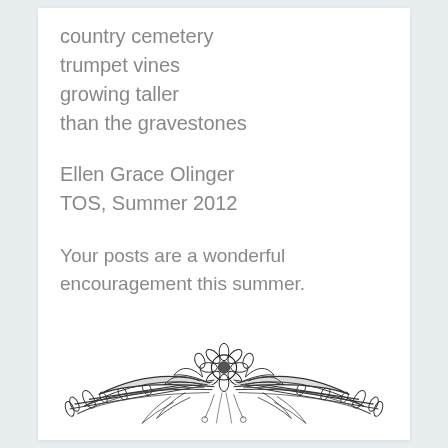country cemetery
trumpet vines
growing taller
than the gravestones
Ellen Grace Olinger
TOS, Summer 2012
Your posts are a wonderful encouragement this summer.
[Figure (illustration): A decorative horizontal floral divider illustration in black ink, featuring wheat stalks, leaves, and a central flower motif arranged symmetrically.]